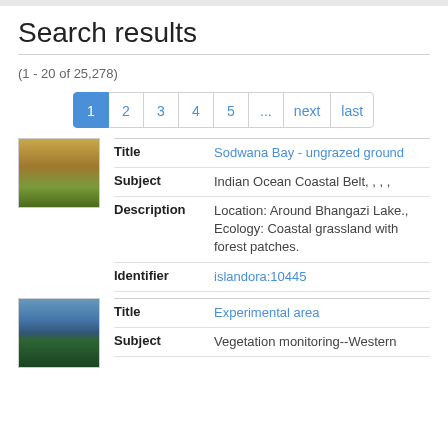Search results
(1 - 20 of 25,278)
1  2  3  4  5  ...  next  last
[Figure (photo): Thumbnail of grassland/savanna landscape at Sodwana Bay]
| Field | Value |
| --- | --- |
| Title | Sodwana Bay - ungrazed ground |
| Subject | Indian Ocean Coastal Belt, , , , |
| Description | Location: Around Bhangazi Lake., Ecology: Coastal grassland with forest patches. |
| Identifier | islandora:10445 |
[Figure (photo): Thumbnail of mountain/hill landscape for Experimental area]
| Field | Value |
| --- | --- |
| Title | Experimental area |
| Subject | Vegetation monitoring--Western |